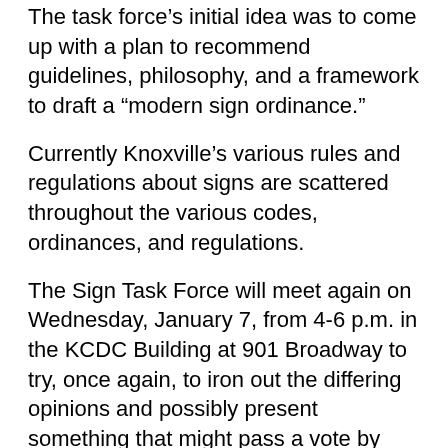The task force's initial idea was to come up with a plan to recommend guidelines, philosophy, and a framework to draft a “modern sign ordinance.”
Currently Knoxville’s various rules and regulations about signs are scattered throughout the various codes, ordinances, and regulations.
The Sign Task Force will meet again on Wednesday, January 7, from 4-6 p.m. in the KCDC Building at 901 Broadway to try, once again, to iron out the differing opinions and possibly present something that might pass a vote by City Council.
The multi-page ordinance, drafted by out-going Metropolitan Planning Commission Executive Director Mark Donaldson and MPC staff